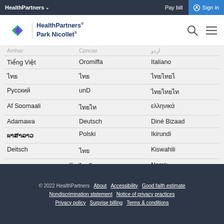HealthPartners ∨   Pay bill   Sign in
[Figure (logo): HealthPartners Park Nicollet logo with diamond icon]
Tiếng Việt | Oromiffa | Italiano
████ | ████ | ███████
Русский | unD | ████████
Af Soomaali | █████ | ελληνικά
Adamawa | Deutsch | Diné Bizaad
ผาສາລາວ | Polski | Ikirundi
Deitsch | ███ | Kiswahili
العربية | ██████ | Norsk
Français | Shqip | Ojibwe
███ | Srpsko-hrvatski | █████
© 2022 HealthPartners   About   Accessibility   Good faith estimate   Nondiscrimination statement   Notice of privacy practices   Privacy policy   Surprise billing   Terms & conditions